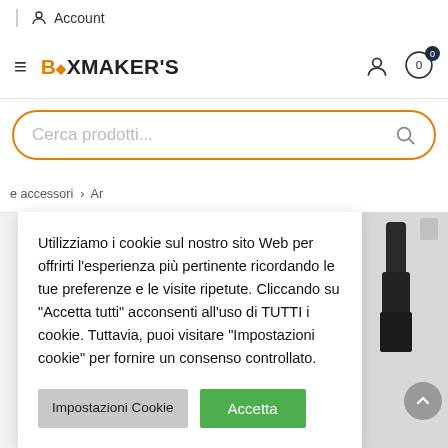Account
[Figure (logo): BOXMAKER'S logo in orange and black, hamburger menu icon, user icon, cart icon with badge 0]
Cerca prodotti...
e accessori › Ar
Utilizziamo i cookie sul nostro sito Web per offrirti l'esperienza più pertinente ricordando le tue preferenze e le visite ripetute. Cliccando su "Accetta tutti" acconsenti all'uso di TUTTI i cookie. Tuttavia, puoi visitare "Impostazioni cookie" per fornire un consenso controllato.
Impostazioni Cookie
Accetta
[Figure (photo): Black product (tool/accessory) photographed against a grey background, partially visible]